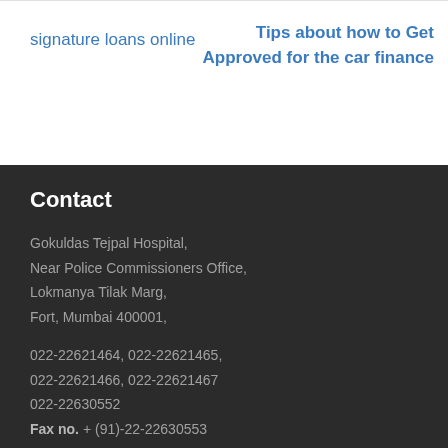signature loans online
Tips about how to Get Approved for the car finance
Contact
Gokuldas Tejpal Hospital,
Near Police Commissioners Office,
Lokmanya Tilak Marg,
Fort, Mumbai 400001,
022-22621464, 022-22621465,
022-22621466, 022-22621467
022-22630552
Fax no. + (91)-22-22630553